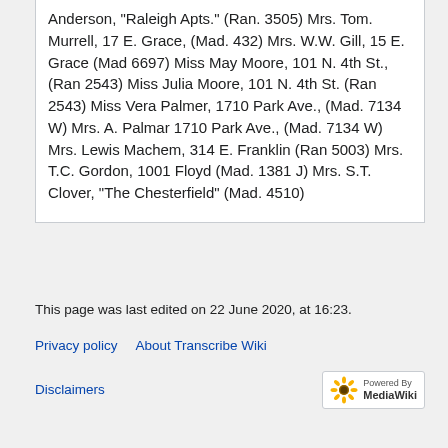Anderson, "Raleigh Apts." (Ran. 3505) Mrs. Tom. Murrell, 17 E. Grace, (Mad. 432) Mrs. W.W. Gill, 15 E. Grace (Mad 6697) Miss May Moore, 101 N. 4th St., (Ran 2543) Miss Julia Moore, 101 N. 4th St. (Ran 2543) Miss Vera Palmer, 1710 Park Ave., (Mad. 7134 W) Mrs. A. Palmar 1710 Park Ave., (Mad. 7134 W) Mrs. Lewis Machem, 314 E. Franklin (Ran 5003) Mrs. T.C. Gordon, 1001 Floyd (Mad. 1381 J) Mrs. S.T. Clover, "The Chesterfield" (Mad. 4510)
This page was last edited on 22 June 2020, at 16:23.
Privacy policy   About Transcribe Wiki   Disclaimers